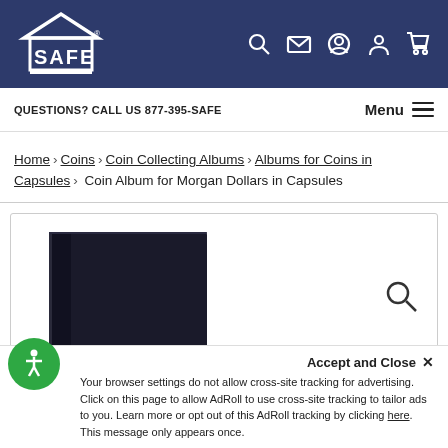[Figure (logo): SAFE brand logo - white text on dark blue background with building/roof motif]
QUESTIONS? CALL US 877-395-SAFE   Menu
Home › Coins › Coin Collecting Albums › Albums for Coins in Capsules › Coin Album for Morgan Dollars in Capsules
[Figure (photo): Dark navy/black coin album product photo]
Your browser settings do not allow cross-site tracking for advertising. Click on this page to allow AdRoll to use cross-site tracking to tailor ads to you. Learn more or opt out of this AdRoll tracking by clicking here. This message only appears once.